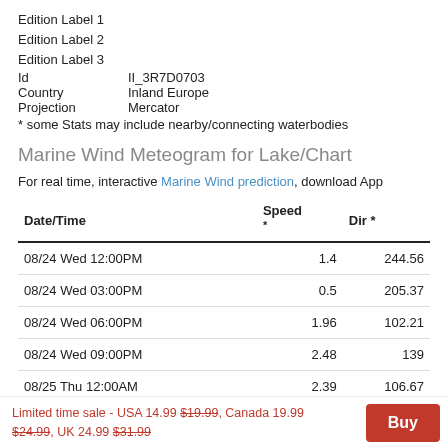Edition Label 1
Edition Label 2
Edition Label 3
Id   II_3R7D0703
Country   Inland Europe
Projection   Mercator
* some Stats may include nearby/connecting waterbodies
Marine Wind Meteogram for Lake/Chart
For real time, interactive Marine Wind prediction, download App
| Date/Time | Speed * | Dir * |
| --- | --- | --- |
| 08/24 Wed 12:00PM | 1.4 | 244.56 |
| 08/24 Wed 03:00PM | 0.5 | 205.37 |
| 08/24 Wed 06:00PM | 1.96 | 102.21 |
| 08/24 Wed 09:00PM | 2.48 | 139 |
| 08/25 Thu 12:00AM | 2.39 | 106.67 |
Limited time sale - USA 14.99 $19.99, Canada 19.99 $24.99, UK 24.99 $31.99